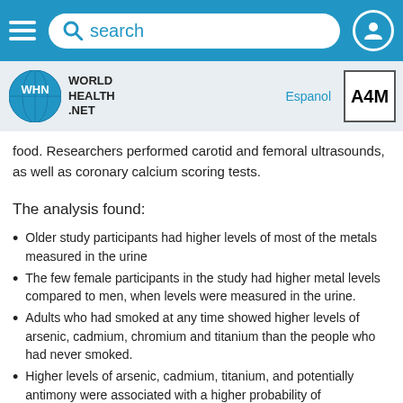search
[Figure (logo): World Health Net logo with blue circle containing WHN text]
food. Researchers performed carotid and femoral ultrasounds, as well as coronary calcium scoring tests.
The analysis found:
Older study participants had higher levels of most of the metals measured in the urine
The few female participants in the study had higher metal levels compared to men, when levels were measured in the urine.
Adults who had smoked at any time showed higher levels of arsenic, cadmium, chromium and titanium than the people who had never smoked.
Higher levels of arsenic, cadmium, titanium, and potentially antimony were associated with a higher probability of